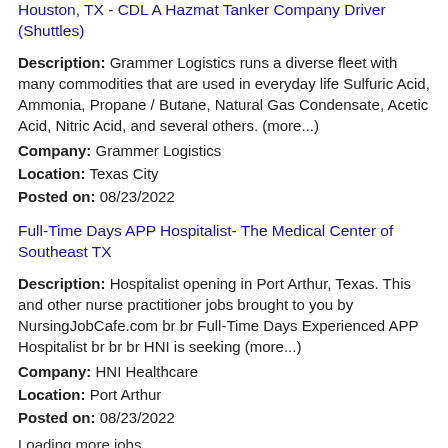Houston, TX - CDL A Hazmat Tanker Company Driver (Shuttles)
Description: Grammer Logistics runs a diverse fleet with many commodities that are used in everyday life Sulfuric Acid, Ammonia, Propane / Butane, Natural Gas Condensate, Acetic Acid, Nitric Acid, and several others. (more...)
Company: Grammer Logistics
Location: Texas City
Posted on: 08/23/2022
Full-Time Days APP Hospitalist- The Medical Center of Southeast TX
Description: Hospitalist opening in Port Arthur, Texas. This and other nurse practitioner jobs brought to you by NursingJobCafe.com br br Full-Time Days Experienced APP Hospitalist br br br HNI is seeking (more...)
Company: HNI Healthcare
Location: Port Arthur
Posted on: 08/23/2022
Loading more jobs...
Log In or Create An Account
Username: